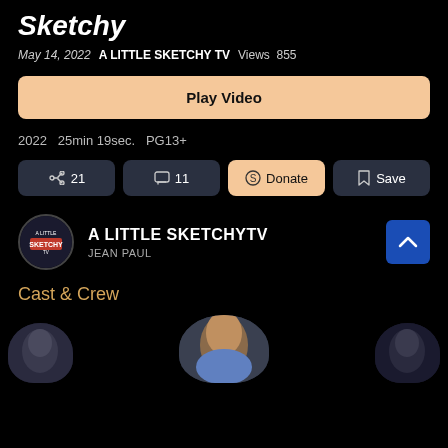Sketchy
May 14, 2022  A LITTLE SKETCHY TV  Views  855
Play Video
2022  25min 19sec.  PG13+
21  11  Donate  Save
A LITTLE SKETCHYTV
JEAN PAUL
Cast & Crew